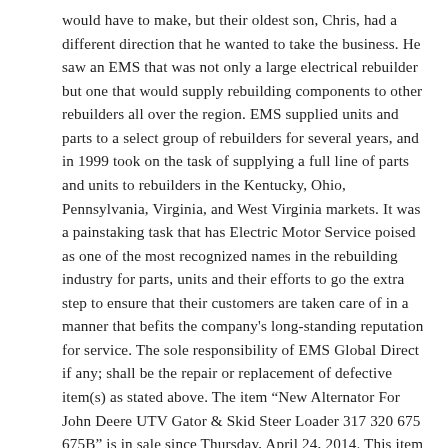would have to make, but their oldest son, Chris, had a different direction that he wanted to take the business. He saw an EMS that was not only a large electrical rebuilder but one that would supply rebuilding components to other rebuilders all over the region. EMS supplied units and parts to a select group of rebuilders for several years, and in 1999 took on the task of supplying a full line of parts and units to rebuilders in the Kentucky, Ohio, Pennsylvania, Virginia, and West Virginia markets. It was a painstaking task that has Electric Motor Service poised as one of the most recognized names in the rebuilding industry for parts, units and their efforts to go the extra step to ensure that their customers are taken care of in a manner that befits the company's long-standing reputation for service. The sole responsibility of EMS Global Direct if any; shall be the repair or replacement of defective item(s) as stated above. The item "New Alternator For John Deere UTV Gator & Skid Steer Loader 317 320 675 675B" is in sale since Thursday, April 24, 2014. This item is in the category "eBay Motors\Parts & Accessories\Other". The